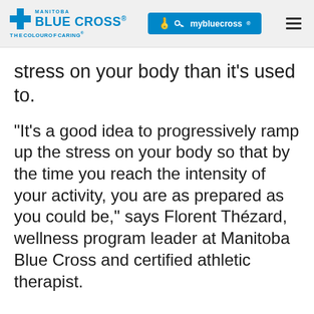MANITOBA BLUE CROSS® THE COLOUR OF CARING® | mybluecross®
stress on your body than it's used to.
“It’s a good idea to progressively ramp up the stress on your body so that by the time you reach the intensity of your activity, you are as prepared as you could be,” says Florent Thézard, wellness program leader at Manitoba Blue Cross and certified athletic therapist.